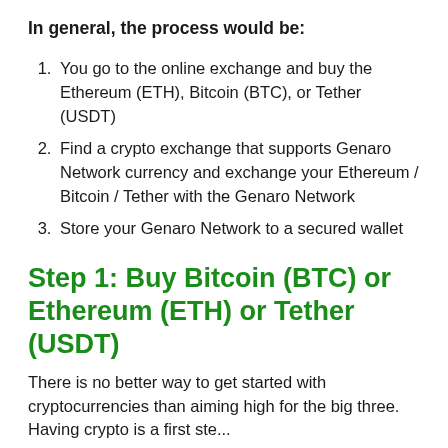In general, the process would be:
You go to the online exchange and buy the Ethereum (ETH), Bitcoin (BTC), or Tether (USDT)
Find a crypto exchange that supports Genaro Network currency and exchange your Ethereum / Bitcoin / Tether with the Genaro Network
Store your Genaro Network to a secured wallet
Step 1: Buy Bitcoin (BTC) or Ethereum (ETH) or Tether (USDT)
There is no better way to get started with cryptocurrencies than aiming high for the big three. Having crypto is a first ste...